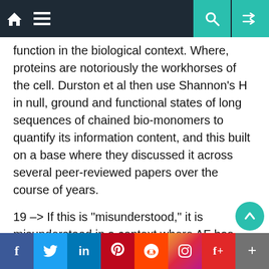Navigation bar with home, menu, search, and shuffle icons
function in the biological context. Where, proteins are notoriously the workhorses of the cell. Durston et al then use Shannon’s H in null, ground and functional states of long sequences of chained bio-monomers to quantify its information content, and this built on a base where they discussed it across several peer-reviewed papers over the course of years.
19 –> If this is “misunderstood,” it is misunderstood in a context where AF has been repeatedly corrected on the point, but has consistently defiantly ignored or brushed it aside. Such behaviour, in a context of associated false accusations of fraud [“bogus”], is willful and irresponsible relative to his manifest duties of care to truth, acc…
f  Twitter  in  Pinterest  Reddit  Instagram  Flipboard  +